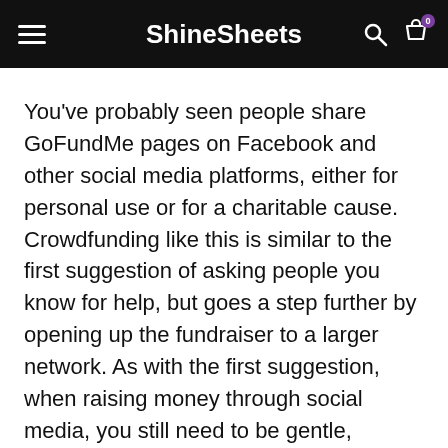ShineSheets
You've probably seen people share GoFundMe pages on Facebook and other social media platforms, either for personal use or for a charitable cause. Crowdfunding like this is similar to the first suggestion of asking people you know for help, but goes a step further by opening up the fundraiser to a larger network. As with the first suggestion, when raising money through social media, you still need to be gentle, understanding, and incredibly gracious – particularly given that the whole process will be fairly public. That said, this campaign really...